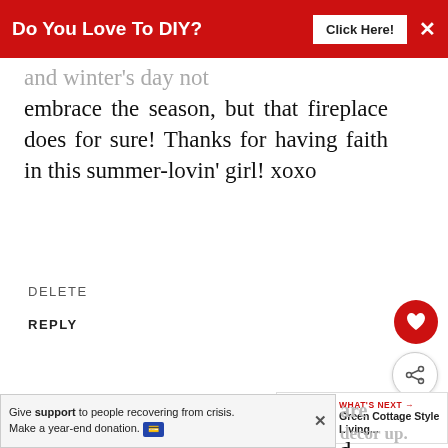Do You Love To DIY?  Click Here!  ×
embrace the season, but that fireplace does for sure! Thanks for having faith in this summer-lovin' girl! xoxo
DELETE
REPLY
AnnMarie aka Vintage Junkie aka NaNa
OCTOBER 4, 2017 AT 6:51 PM
WHAT'S NEXT → Green Cottage Style Living...
Your simple décor is perfect and
Give support to people recovering from crisis. Make a year-end donation.